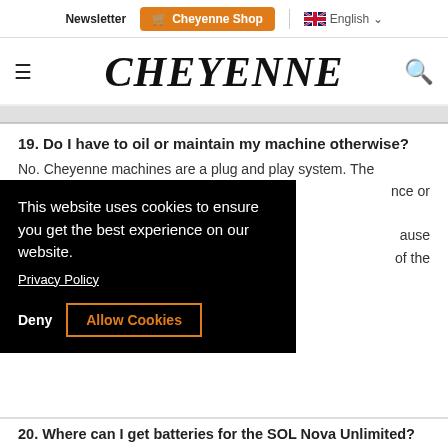Newsletter | Cheyenne Shop | English
CHEYENNE
19. Do I have to oil or maintain my machine otherwise?
No. Cheyenne machines are a plug and play system. The [text partially obscured] nce or [text partially obscured] ause [text partially obscured] of the
This website uses cookies to ensure you get the best experience on our website.
Privacy Policy
Deny
Allow Cookies
20. Where can I get batteries for the SOL Nova Unlimited?